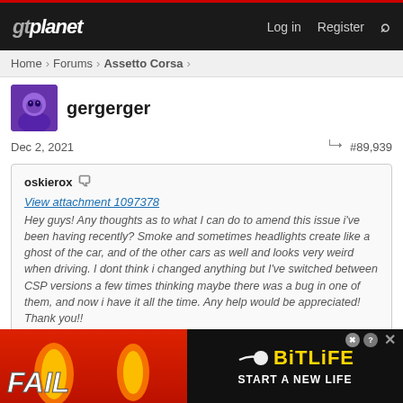gtplanet | Log in | Register
Home > Forums > Assetto Corsa >
gergerger
Dec 2, 2021  #89,939
oskierox
View attachment 1097378
Hey guys! Any thoughts as to what I can do to amend this issue i've been having recently? Smoke and sometimes headlights create like a ghost of the car, and of the other cars as well and looks very weird when driving. I dont think i changed anything but I've switched between CSP versions a few times thinking maybe there was a bug in one of them, and now i have it all the time. Any help would be appreciated! Thank you!!
Click to expand...
Glad you fixed it! It may help a few chaps as well.
[Figure (screenshot): BitLife advertisement banner with FAIL text and START A NEW LIFE tagline]